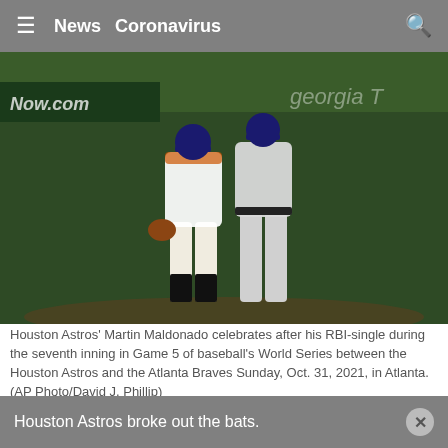≡  News  Coronavirus  🔍
[Figure (photo): Two baseball players standing on field, one in Houston Astros uniform and one in Atlanta Braves uniform. Green stadium backdrop visible. 'Now.com' advertisement board visible in background.]
Houston Astros' Martin Maldonado celebrates after his RBI-single during the seventh inning in Game 5 of baseball's World Series between the Houston Astros and the Atlanta Braves Sunday, Oct. 31, 2021, in Atlanta.  (AP Photo/David J. Phillip)
By The Associated Press
Published: Nov. 1, 2021 at 4:20 AM UTC  |  Updated: Nov. 1, 2021 at 5:51 AM UTC
ATLANTA (AP) — Just in time, Carlos Correa and the Houston Astros broke out the bats.